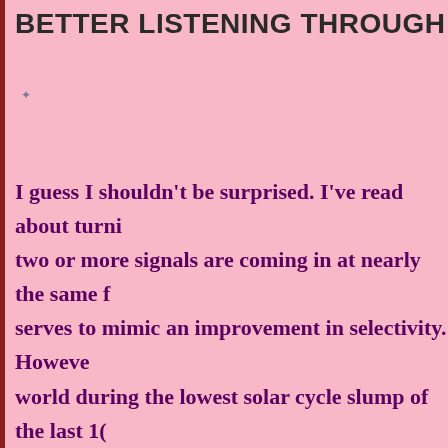BETTER LISTENING THROUGH LOWER RF G
I guess I shouldn't be surprised. I've read about turni two or more signals are coming in at nearly the same f serves to mimic an improvement in selectivity. Howeve world during the lowest solar cycle slump of the last 1( finding even one signal to listen to has been the greate lucky as to find two signals competing for my attention situation that led me to discover that turning down the sometimes improve the intelligibility of the voices I w